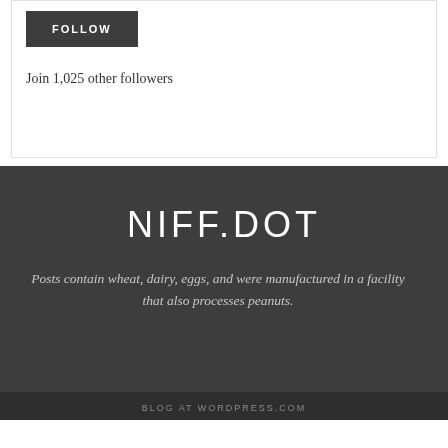[Figure (screenshot): Follow button widget with dark background button labeled FOLLOW]
Join 1,025 other followers
NIFF.DOT
Posts contain wheat, dairy, eggs, and were manufactured in a facility that also processes peanuts.
BLOG AT WORDPRESS.COM